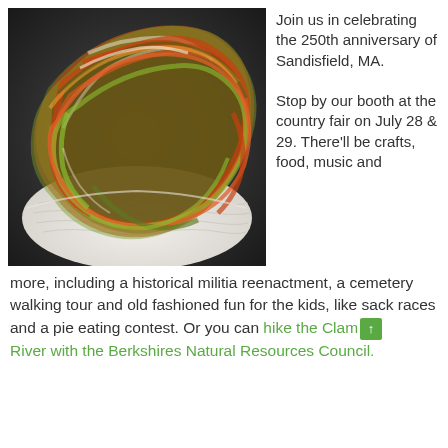[Figure (photo): Close-up photo of a skein of handspun yarn in orange, green, brown, and cream colors, resting on a white ridged plate or bowl against a dark background.]
Join us in celebrating the 250th anniversary of Sandisfield, MA.

Stop by our booth at the country fair on July 28 & 29. There'll be crafts, food, music and more, including a historical militia reenactment, a cemetery walking tour and old fashioned fun for the kids, like sack races and a pie eating contest. Or you can hike the Clam River with the Berkshires Natural Resources Council.